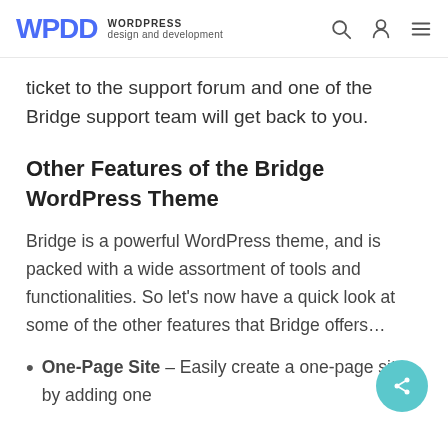WPDD WORDPRESS design and development
ticket to the support forum and one of the Bridge support team will get back to you.
Other Features of the Bridge WordPress Theme
Bridge is a powerful WordPress theme, and is packed with a wide assortment of tools and functionalities. So let's now have a quick look at some of the other features that Bridge offers…
One-Page Site – Easily create a one-page site by adding one